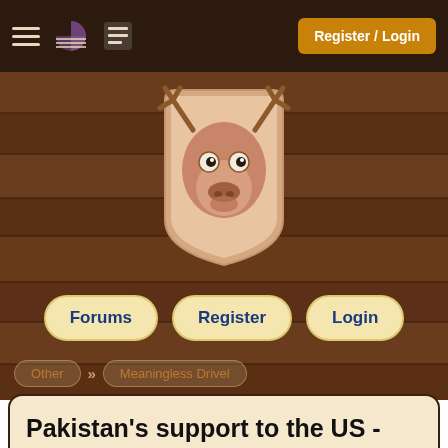Register / Login
[Figure (illustration): Moose head cartoon logo on wooden plank background]
Forums   Register   Login
Other » Meaningless Drivel
Pakistan's support to the US - pros and cons for India
Desai Sandeep , Ranch Hand
Sep 16, 2001 07:56:00